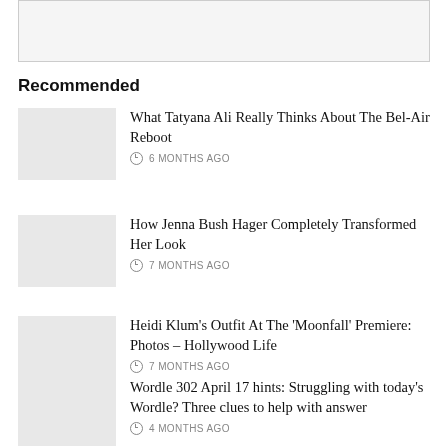[Figure (other): Advertisement placeholder box, gray bordered rectangle]
Recommended
What Tatyana Ali Really Thinks About The Bel-Air Reboot
6 MONTHS AGO
How Jenna Bush Hager Completely Transformed Her Look
7 MONTHS AGO
Heidi Klum's Outfit At The 'Moonfall' Premiere: Photos – Hollywood Life
7 MONTHS AGO
Wordle 302 April 17 hints: Struggling with today's Wordle? Three clues to help with answer
4 MONTHS AGO